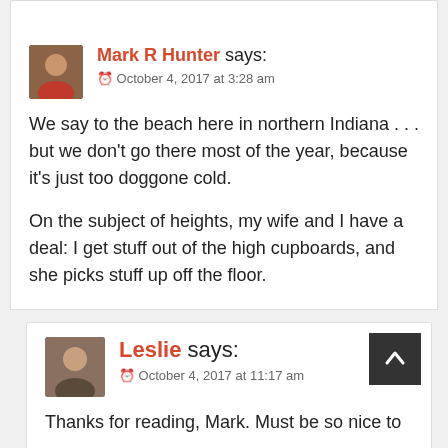Mark R Hunter says:
October 4, 2017 at 3:28 am
We say to the beach here in northern Indiana . . . but we don't go there most of the year, because it's just too doggone cold.
On the subject of heights, my wife and I have a deal: I get stuff out of the high cupboards, and she picks stuff up off the floor.
Leslie says:
October 4, 2017 at 11:17 am
Thanks for reading, Mark. Must be so nice to